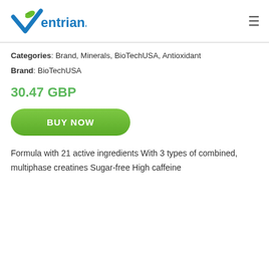ventrian.com
Categories: Brand, Minerals, BioTechUSA, Antioxidant
Brand: BioTechUSA
30.47 GBP
BUY NOW
Formula with 21 active ingredients With 3 types of combined, multiphase creatines Sugar-free High caffeine